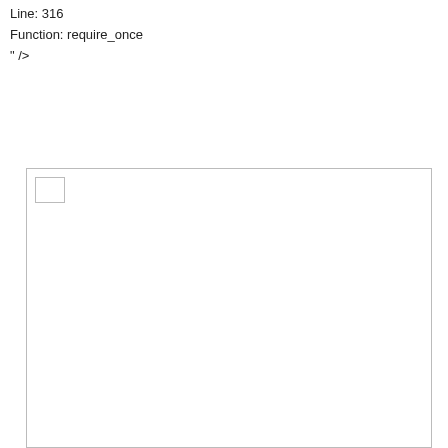Line: 316
Function: require_once
" />
[Figure (other): A large empty rectangle with a small empty square in the top-left corner, representing a placeholder or broken image/content box.]